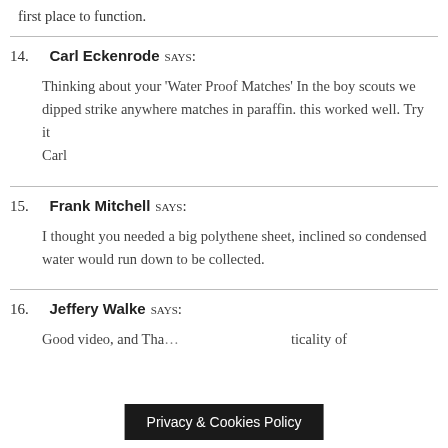first place to function.
14. Carl Eckenrode says: Thinking about your 'Water Proof Matches' In the boy scouts we dipped strike anywhere matches in paraffin. this worked well. Try it Carl
15. Frank Mitchell says: I thought you needed a big polythene sheet, inclined so condensed water would run down to be collected.
16. Jeffery Walke says: Good video, and Tha... ticality of
Privacy & Cookies Policy